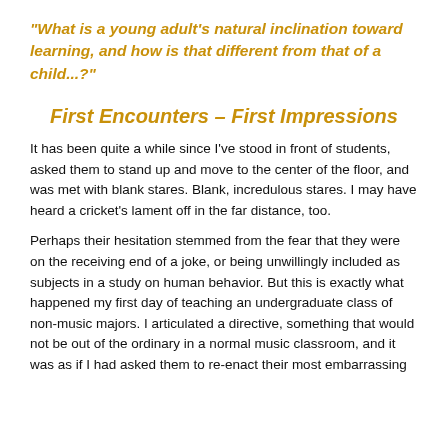“What is a young adult's natural inclination toward learning, and how is that different from that of a child...?”
First Encounters – First Impressions
It has been quite a while since I've stood in front of students, asked them to stand up and move to the center of the floor, and was met with blank stares. Blank, incredulous stares. I may have heard a cricket's lament off in the far distance, too.
Perhaps their hesitation stemmed from the fear that they were on the receiving end of a joke, or being unwillingly included as subjects in a study on human behavior. But this is exactly what happened my first day of teaching an undergraduate class of non-music majors. I articulated a directive, something that would not be out of the ordinary in a normal music classroom, and it was as if I had asked them to re-enact their most embarrassing